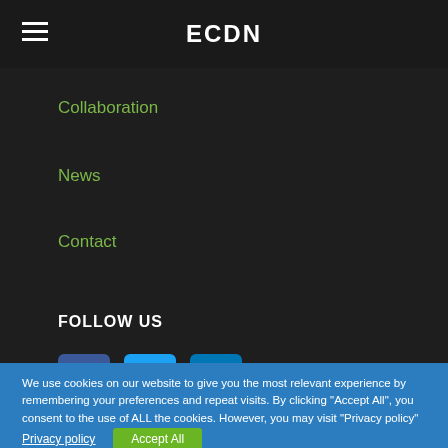ECDN
Collaboration
News
Contact
FOLLOW US
[Figure (illustration): Social media icons: Facebook (blue square with f), Twitter (blue square with bird), LinkedIn (blue square with in)]
We use cookies on our website to give you the most relevant experience by remembering your preferences and repeat visits. By clicking "Accept All", you consent to the use of ALL the cookies. However, you may visit "Privacy policy" to read our policy on this website.
Privacy policy
Accept All